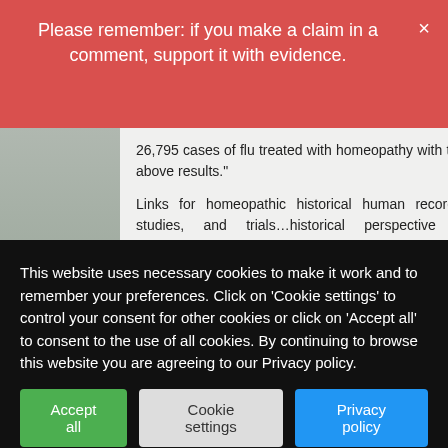Please remember: if you make a claim in a comment, support it with evidence.
26,795 cases of flu treated with homeopathy with the above results."
Links for homeopathic historical human records, studies, and trials…historical perspective in pandemics: http://www.homeopathycenter.org/homeoprophylaxis-human-records-studies-and-trials [http://www.homeopathycenter.org/treatment-epidemics-homeopathy-history
On a personal note, if you have concerns about contracting the covid-19, besides the
This website uses necessary cookies to make it work and to remember your preferences. Click on 'Cookie settings' to control your consent for other cookies or click on 'Accept all' to consent to the use of all cookies. By continuing to browse this website you are agreeing to our Privacy policy.